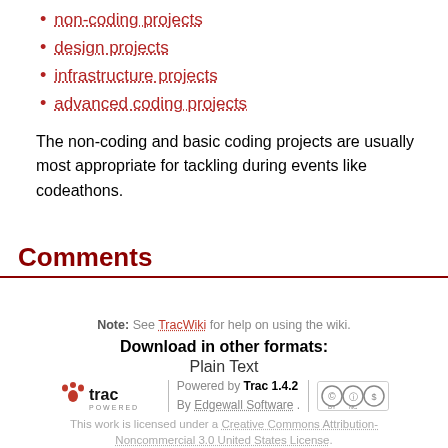non-coding projects
design projects
infrastructure projects
advanced coding projects
The non-coding and basic coding projects are usually most appropriate for tackling during events like codeathons.
Comments
Note: See TracWiki for help on using the wiki.
Download in other formats:
Plain Text
Powered by Trac 1.4.2 By Edgewall Software. This work is licensed under a Creative Commons Attribution-Noncommercial 3.0 United States License.